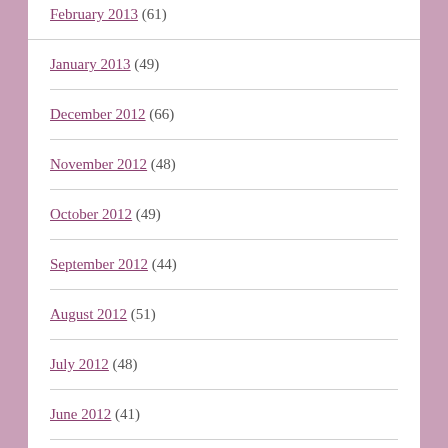February 2013 (61)
January 2013 (49)
December 2012 (66)
November 2012 (48)
October 2012 (49)
September 2012 (44)
August 2012 (51)
July 2012 (48)
June 2012 (41)
May 2012 (40)
April 2012 (42)